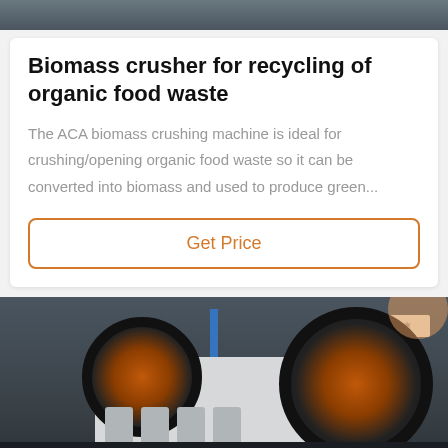[Figure (photo): Top portion of industrial machinery photo, partially visible at top of page]
Biomass crusher for recycling of organic food waste
The ACA biomass crushing machine is ideal for crushing/opening organic food waste so it can be converted into biomass and used to produce green...
Get Price
[Figure (photo): Industrial jaw crusher machine in a factory setting, showing large orange and black flywheels and white crusher body]
Leave Message
Chat Online